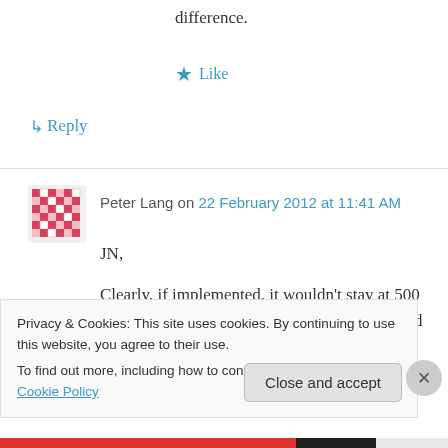difference.
★ Like
↳ Reply
Peter Lang on 22 February 2012 at 11:41 AM
JN,
Clearly, if implemented, it wouldn't stay at 500 enterprises. Eventuall virtually everyone would have to be involved if we are goin to trade in
Privacy & Cookies: This site uses cookies. By continuing to use this website, you agree to their use.
To find out more, including how to control cookies, see here: Cookie Policy
Close and accept